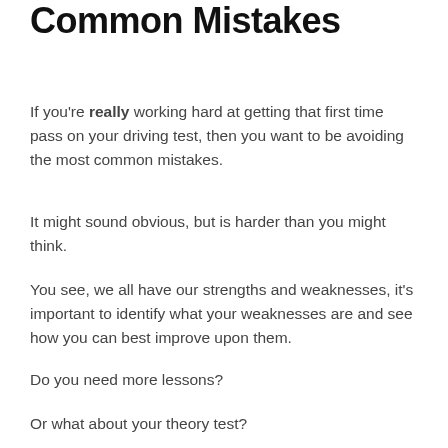Common Mistakes
If you're really working hard at getting that first time pass on your driving test, then you want to be avoiding the most common mistakes.
It might sound obvious, but is harder than you might think.
You see, we all have our strengths and weaknesses, it's important to identify what your weaknesses are and see how you can best improve upon them.
Do you need more lessons?
Or what about your theory test?